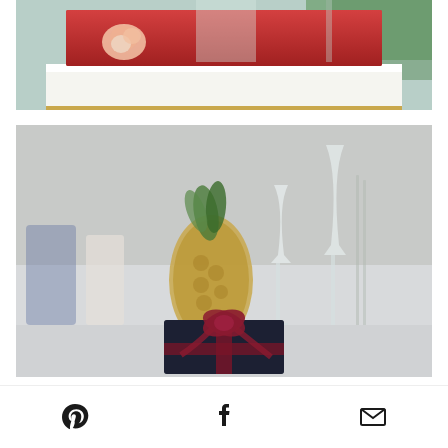[Figure (photo): Partial view of a red wedding cake with white base, gold trim, and a pink flower decoration, on a light background.]
[Figure (photo): Table setting with champagne flutes, a gold pineapple centerpiece, and a dark navy gift box tied with a deep red ribbon bow in the foreground.]
[Figure (infographic): Social sharing icon bar with Pinterest, Facebook, and email icons centered horizontally on a white background.]